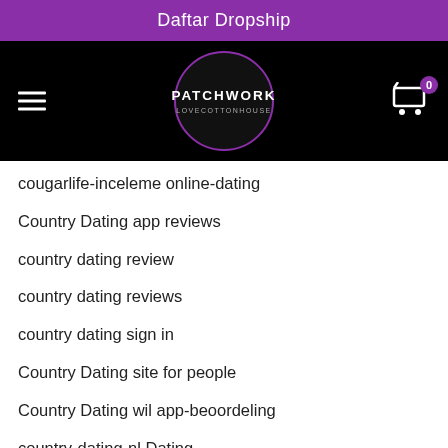Daftar Dropship
[Figure (logo): Patchwork Lovecottonhouse logo in a circle with hamburger menu and cart icon on black navigation bar]
cougarlife-inceleme online-dating
Country Dating app reviews
country dating review
country dating reviews
country dating sign in
Country Dating site for people
Country Dating wil app-beoordeling
country-dating-nl Dating